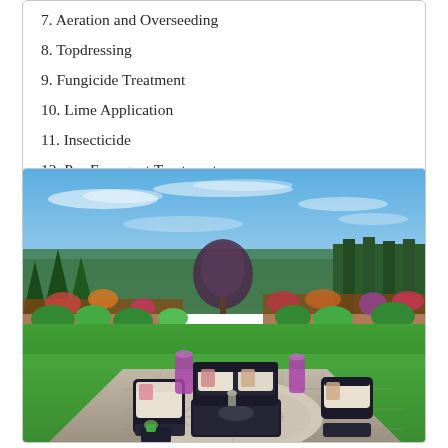7. Aeration and Overseeding
8. Topdressing
9. Fungicide Treatment
10. Lime Application
11. Insecticide
12. Pre-Emergent Treatment
[Figure (photo): Outdoor patio with dark wicker furniture, decorative area rug, surrounded by a lush green lawn and colorful landscaped garden beds with trees under a blue sky with wispy clouds.]